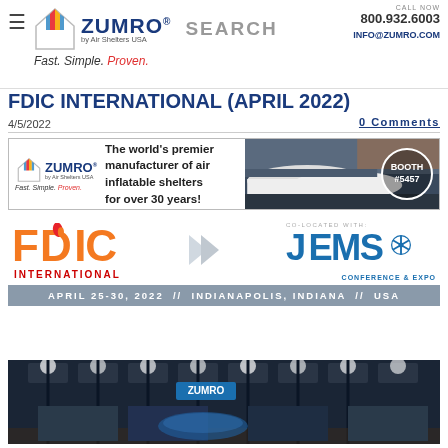ZUMRO by Air Shelters USA — Fast. Simple. Proven. SEARCH 800.932.6003 INFO@ZUMRO.COM
FDIC INTERNATIONAL (APRIL 2022)
4/5/2022
0 Comments
[Figure (infographic): Zumro banner advertisement: 'The world's premier manufacturer of air inflatable shelters for over 30 years!' with photo of shelters and BOOTH #5457 circle]
[Figure (infographic): FDIC International logo and JEMS Conference & Expo logo side by side with arrows graphic between them, with date bar: APRIL 25-30, 2022 // INDIANAPOLIS, INDIANA // USA]
[Figure (photo): Interior shot of exhibition hall with Zumro booth sign visible]